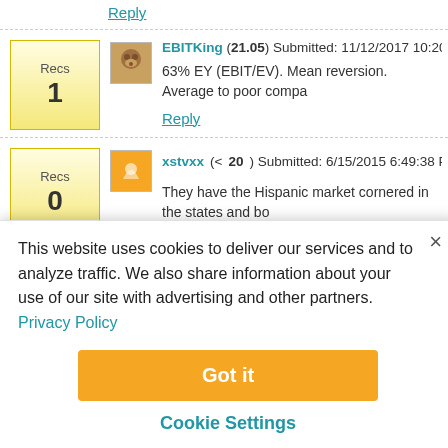Reply
Recs 1 — EBITKing (21.05) Submitted: 11/12/2017 10:20:57 AM — 63% EY (EBIT/EV). Mean reversion. Average to poor compa...
Reply
Recs 0 — xstvxx (< 20) Submitted: 6/15/2015 6:49:38 PM — They have the Hispanic market cornered in the states and bo... With the upcoming presidential elections coming they should...
This website uses cookies to deliver our services and to analyze traffic. We also share information about your use of our site with advertising and other partners. Privacy Policy
Got it
Cookie Settings